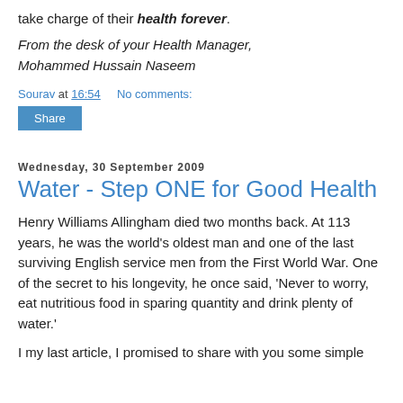take charge of their health forever.
From the desk of your Health Manager,
Mohammed Hussain Naseem
Sourav at 16:54    No comments:
Share
Wednesday, 30 September 2009
Water - Step ONE for Good Health
Henry Williams Allingham died two months back. At 113 years, he was the world's oldest man and one of the last surviving English service men from the First World War. One of the secret to his longevity, he once said, 'Never to worry, eat nutritious food in sparing quantity and drink plenty of water.'
I my last article, I promised to share with you some simple